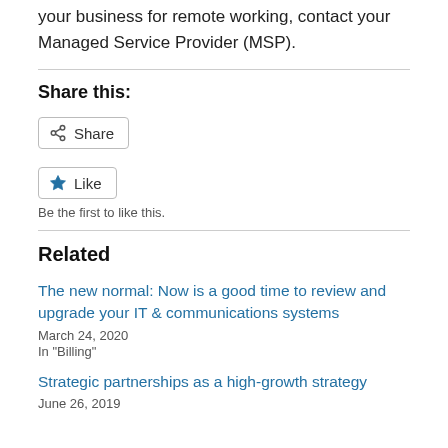your business for remote working, contact your Managed Service Provider (MSP).
Share this:
[Figure (other): Share button with share icon]
[Figure (other): Like button with blue star icon]
Be the first to like this.
Related
The new normal: Now is a good time to review and upgrade your IT & communications systems
March 24, 2020
In "Billing"
Strategic partnerships as a high-growth strategy
June 26, 2019